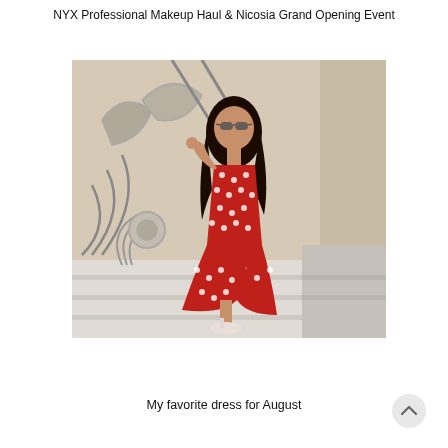NYX Professional Makeup Haul & Nicosia Grand Opening Event
[Figure (photo): A woman with long dark hair and sunglasses wearing a red polka-dot dress sits on white stone steps. Behind her is a decorative stone wall with abstract metal sculptures. She is wearing white sandals and resting one arm up.]
My favorite dress for August